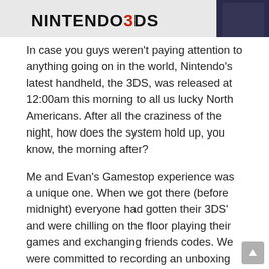[Figure (photo): Nintendo 3DS banner image with text 'Nintendo3DS' in bold black and red lettering on a dark background with a person partially visible on the right]
In case you guys weren't paying attention to anything going on in the world, Nintendo's latest handheld, the 3DS, was released at 12:00am this morning to all us lucky North Americans. After all the craziness of the night, how does the system hold up, you know, the morning after?
Me and Evan's Gamestop experience was a unique one. When we got there (before midnight) everyone had gotten their 3DS' and were chilling on the floor playing their games and exchanging friends codes. We were committed to recording an unboxing video, so we were patient and waited until we got home and then broke that bad boy open!
After the crazy 3DS extravaganza, I uploaded some Youtube videos and passed out around 4am. Fun night